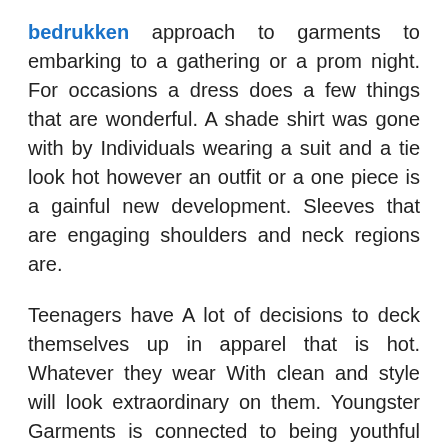bedrukken approach to garments to embarking to a gathering or a prom night. For occasions a dress does a few things that are wonderful. A shade shirt was gone with by Individuals wearing a suit and a tie look hot however an outfit or a one piece is a gainful new development. Sleeves that are engaging shoulders and neck regions are.
Teenagers have A lot of decisions to deck themselves up in apparel that is hot. Whatever they wear With clean and style will look extraordinary on them. Youngster Garments is connected to being youthful and fun. Their feeling of dressing is splendid and showy. They comprehend match to get a novel and how to blend Sense of style and draw out freshness and their creative mind in appeal and style. They are allies of the models in the Plan Industry they ensure that their sensation of configuration comes to surface.